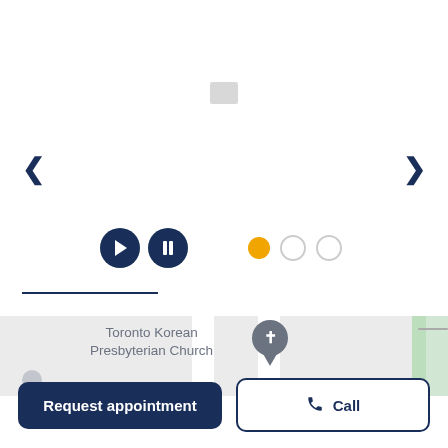[Figure (screenshot): Slideshow UI with left/right navigation arrows, a small image thumbnail in center, play and pause buttons, and three dot indicators (first dot active/orange, two inactive).]
[Figure (map): Map snippet showing Toronto Korean Presbyterian Church with a location pin, road lines, and a green area on the right side. A smaller location pin appears at lower left.]
Toronto Korean Presbyterian Church
Request appointment
Call